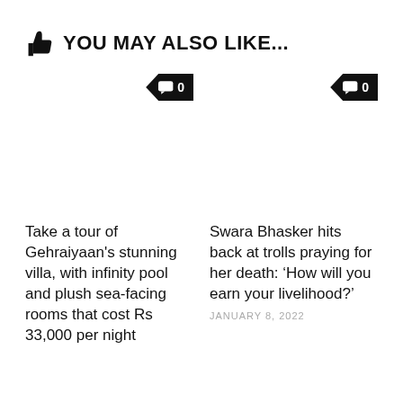YOU MAY ALSO LIKE...
[Figure (other): Comment badge showing '0' comments for first article]
[Figure (other): Comment badge showing '0' comments for second article]
Take a tour of Gehraiyaan's stunning villa, with infinity pool and plush sea-facing rooms that cost Rs 33,000 per night
Swara Bhasker hits back at trolls praying for her death: ‘How will you earn your livelihood?'
JANUARY 8, 2022